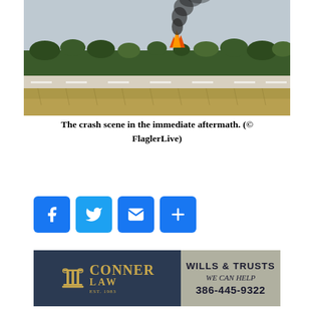[Figure (photo): Aerial/ground-level photo of a crash scene at an airfield showing flames and black smoke rising from a fire in a tree line beyond a runway, with dry grass in the foreground.]
The crash scene in the immediate aftermath. (© FlaglerLive)
[Figure (infographic): Social media share buttons: Facebook (blue), Twitter (blue bird), Email (blue envelope), Share (blue plus sign)]
[Figure (illustration): Advertisement for Conner Law — dark navy background with gold pillar logo, 'CONNER LAW EST. 1983', and right panel showing 'WILLS & TRUSTS WE CAN HELP 386-445-9322' on a gray-green background.]